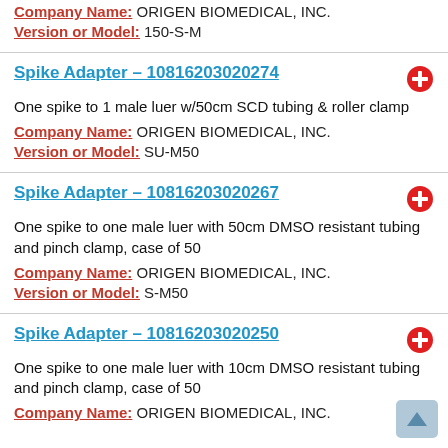Company Name: ORIGEN BIOMEDICAL, INC.
Version or Model: 150-S-M
Spike Adapter – 10816203020274
One spike to 1 male luer w/50cm SCD tubing & roller clamp
Company Name: ORIGEN BIOMEDICAL, INC.
Version or Model: SU-M50
Spike Adapter – 10816203020267
One spike to one male luer with 50cm DMSO resistant tubing and pinch clamp, case of 50
Company Name: ORIGEN BIOMEDICAL, INC.
Version or Model: S-M50
Spike Adapter – 10816203020250
One spike to one male luer with 10cm DMSO resistant tubing and pinch clamp, case of 50
Company Name: ORIGEN BIOMEDICAL, INC.